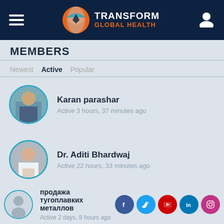Transform Global Health
MEMBERS
Newest | Active | Popular
Karan parashar – Active 3 hours, 37 minutes ago
Dr. Aditi Bhardwaj – Active 22 hours, 33 minutes ago
Kerry-Anne Ginelle Ryce-Paul – Active 1 day, 17 hours ago
продажа тугоплавких металлов – Active 2 days, 8 hours ago